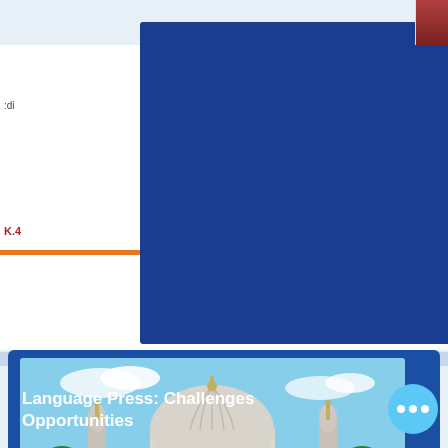[Figure (screenshot): Top portion showing partially visible book covers with blue overlay cards, white background with orange bar accents, red text fragments visible on left (K.4) and right (7) sides]
[Figure (photo): Photograph of a large white domed building (resembling a temple or government building) with ornate architecture, palm trees, decorative spires, and a reflecting pool in front, set against a blue sky]
Language Press: Challenges Opportunities